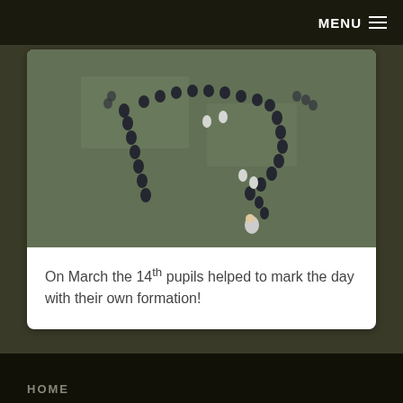MENU ≡
[Figure (photo): Aerial view of school pupils forming a shape/number on a playing field or tarmac area. Students are dressed in dark uniforms and arranged in lines forming what appears to be the Pi symbol or a number formation, viewed from above.]
On March the 14th pupils helped to mark the day with their own formation!
HOME